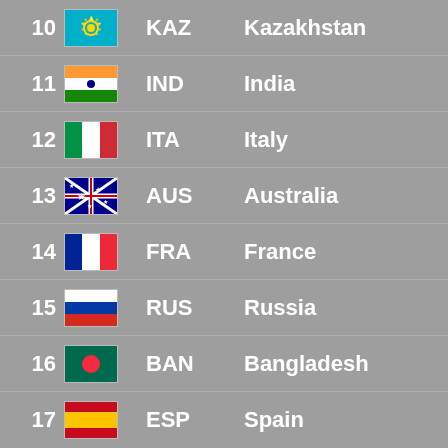10 KAZ Kazakhstan
11 IND India
12 ITA Italy
13 AUS Australia
14 FRA France
15 RUS Russia
16 BAN Bangladesh
17 ESP Spain